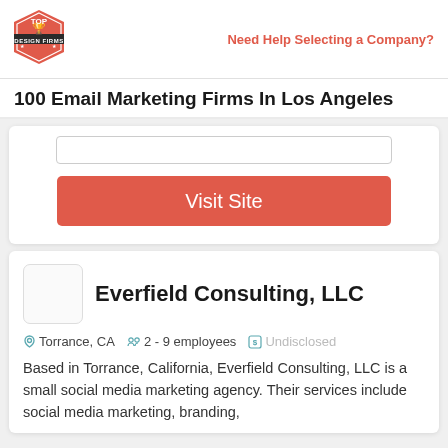Top Design Firms logo | Need Help Selecting a Company?
100 Email Marketing Firms In Los Angeles
[Figure (other): Visit Site button with input box above it]
Everfield Consulting, LLC
Torrance, CA   2 - 9 employees   Undisclosed
Based in Torrance, California, Everfield Consulting, LLC is a small social media marketing agency. Their services include social media marketing, branding,